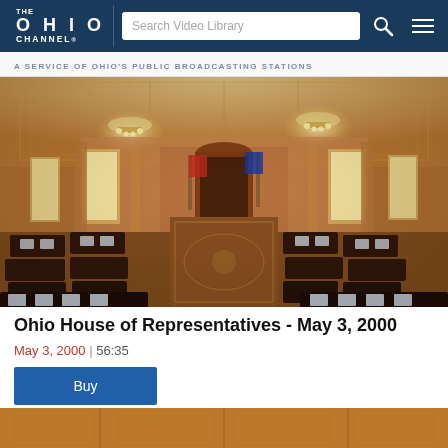THE OHIO CHANNEL | Search Video Library
A SERVICE OF OHIO'S PUBLIC BROADCASTING STATIONS
[Figure (photo): Interior of the Ohio House of Representatives chamber showing the legislative hall with ornate ceiling, chandeliers, wooden desks arranged in a semicircle, and a dais at the front.]
Ohio House of Representatives - May 3, 2000
May 3, 2000 | 56:35
Buy
[Figure (photo): Partial view of the Ohio House of Representatives chamber ceiling and upper walls, warm amber tones.]